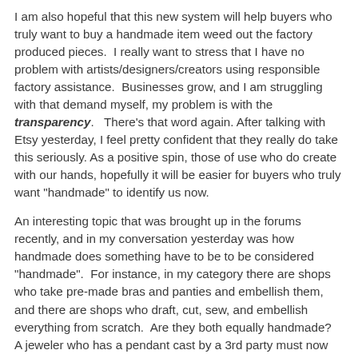I am also hopeful that this new system will help buyers who truly want to buy a handmade item weed out the factory produced pieces.  I really want to stress that I have no problem with artists/designers/creators using responsible factory assistance.  Businesses grow, and I am struggling with that demand myself, my problem is with the transparency.   There's that word again. After talking with Etsy yesterday, I feel pretty confident that they really do take this seriously. As a positive spin, those of use who do create with our hands, hopefully it will be easier for buyers who truly want "handmade" to identify us now.
An interesting topic that was brought up in the forums recently, and in my conversation yesterday was how handmade does something have to be to be considered "handmade".  For instance, in my category there are shops who take pre-made bras and panties and embellish them, and there are shops who draft, cut, sew, and embellish everything from scratch.  Are they both equally handmade?  A jeweler who has a pendant cast by a 3rd party must now disclose that they use a manufacturer to do so, but a hobbyist who puts a pre-made pendant on a pre-made chain...